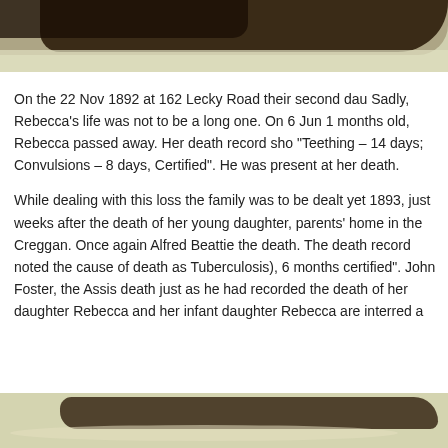[Figure (photo): Top portion of a photograph, partially cropped, showing dark brown tones against a light olive/cream background]
On the 22 Nov 1892 at 162 Lecky Road their second dau Sadly, Rebecca’s life was not to be a long one.  On 6 Jun 1 months old, Rebecca passed away.  Her death record sho “Teething – 14 days; Convulsions – 8 days, Certified”.  He was present at her death.
While dealing with this loss the family was to be dealt yet 1893, just weeks after the death of her young daughter, parents’ home in the Creggan.  Once again Alfred Beattie the death.  The death record noted the cause of death as Tuberculosis), 6 months certified”.  John Foster, the Assis death just as he had recorded the death of her daughter Rebecca and her infant daughter Rebecca are interred a
[Figure (photo): Bottom portion of a photograph, partially cropped, showing dark and light tones against an olive/cream background]